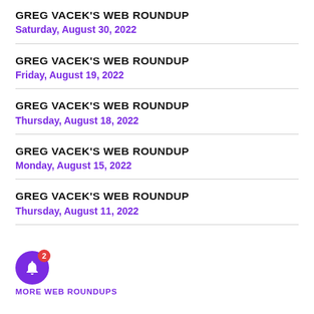GREG VACEK'S WEB ROUNDUP
Saturday, August 30, 2022
GREG VACEK'S WEB ROUNDUP
Friday, August 19, 2022
GREG VACEK'S WEB ROUNDUP
Thursday, August 18, 2022
GREG VACEK'S WEB ROUNDUP
Monday, August 15, 2022
GREG VACEK'S WEB ROUNDUP
Thursday, August 11, 2022
MORE WEB ROUNDUPS